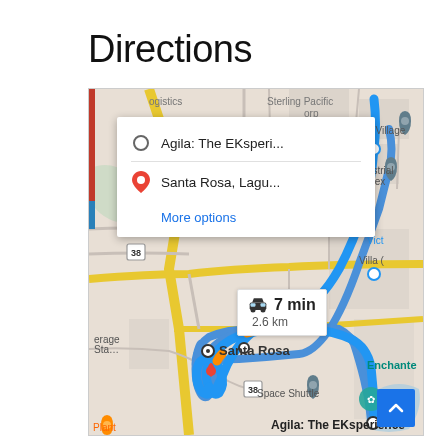Directions
[Figure (map): Google Maps screenshot showing a driving route from Agila: The EKsperience to Santa Rosa, Laguna. The route is shown in blue with a travel time of 7 min and distance of 2.6 km. A directions popup shows origin 'Agila: The EKsperien...' and destination 'Santa Rosa, Lagu...' with a 'More options' link. Map shows roads, landmarks including JB Village, Villa, Space Shuttle, Enchante, and road number 38 markers.]